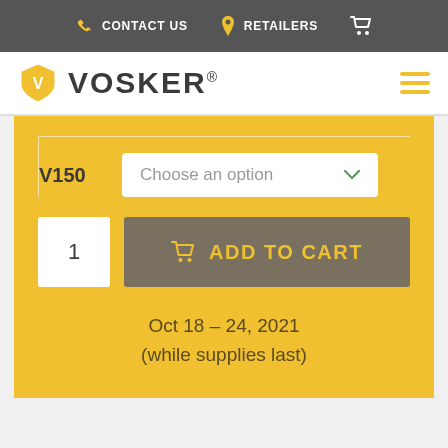CONTACT US   RETAILERS
[Figure (logo): Vosker logo with shield icon and brand name]
V150   Choose an option
1   ADD TO CART
Oct 18 – 24, 2021
(while supplies last)